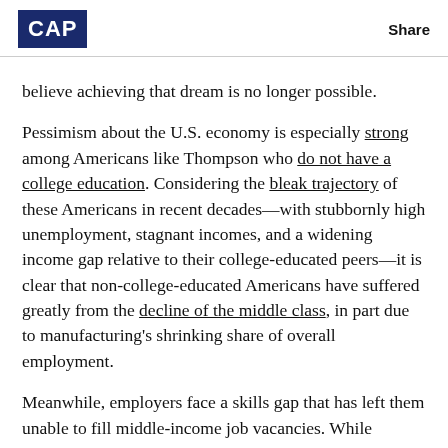CAP | Share
believe achieving that dream is no longer possible.
Pessimism about the U.S. economy is especially strong among Americans like Thompson who do not have a college education. Considering the bleak trajectory of these Americans in recent decades—with stubbornly high unemployment, stagnant incomes, and a widening income gap relative to their college-educated peers—it is clear that non-college-educated Americans have suffered greatly from the decline of the middle class, in part due to manufacturing's shrinking share of overall employment.
Meanwhile, employers face a skills gap that has left them unable to fill middle-income job vacancies. While